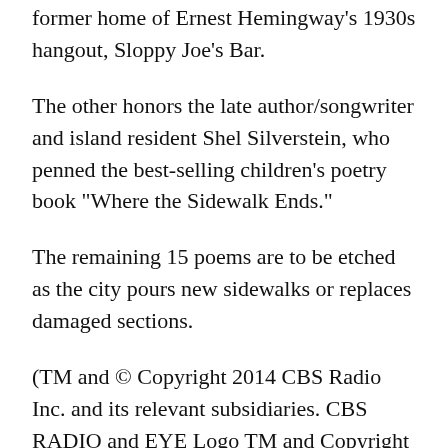former home of Ernest Hemingway's 1930s hangout, Sloppy Joe's Bar.
The other honors the late author/songwriter and island resident Shel Silverstein, who penned the best-selling children's poetry book "Where the Sidewalk Ends."
The remaining 15 poems are to be etched as the city pours new sidewalks or replaces damaged sections.
(TM and © Copyright 2014 CBS Radio Inc. and its relevant subsidiaries. CBS RADIO and EYE Logo TM and Copyright 2014 CBS Broadcasting Inc. Used under license. All Rights Reserved. This material may not be published, broadcast, rewritten, or redistributed. The Associated Press contributed to this report.)